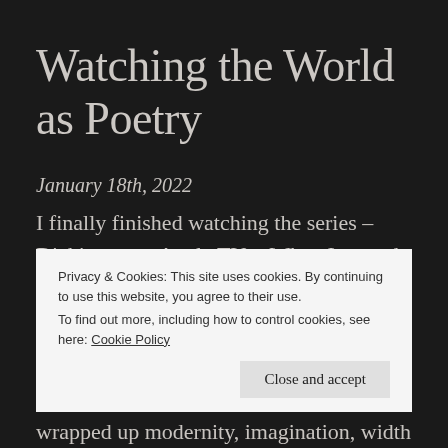Watching the World as Poetry
January 18th, 2022
I finally finished watching the series – Dickinson on Apple TV+. When I started the first season during the time it was released, I expected it to be just another
Privacy & Cookies: This site uses cookies. By continuing to use this website, you agree to their use.
To find out more, including how to control cookies, see here: Cookie Policy
Close and accept
wrapped up modernity, imagination, width